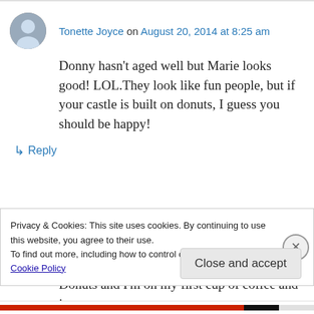Tonette Joyce on August 20, 2014 at 8:25 am
Donny hasn't aged well but Marie looks good! LOL.They look like fun people, but if your castle is built on donuts, I guess you should be happy!
↳ Reply
Lavada Dee on August 20, 2014 at 10:49 am
Donuts and I'm on my first cup of coffee and just
Privacy & Cookies: This site uses cookies. By continuing to use this website, you agree to their use.
To find out more, including how to control cookies, see here: Cookie Policy
Close and accept